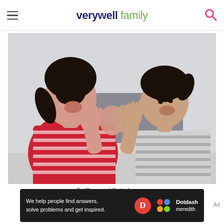verywell family
[Figure (photo): A woman in a red and white striped shirt playing a clapping game face-to-face with a young boy in a striped shirt. Both are laughing and smiling with hands raised and touching. Indoor setting with blurred background.]
FatCamera / Getty Images
[Figure (infographic): Dotdash Meredith advertisement banner. Dark background with white text: 'We help people find answers, solve problems and get inspired.' Red circle with white D logo, and Dotdash Meredith colorful logo dots.]